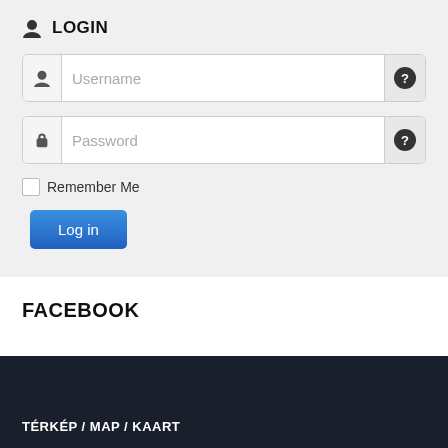LOGIN
[Figure (screenshot): Login form with Username and Password input fields, each with an icon on the left and a help button on the right. A 'Remember Me' checkbox and a 'Log in' button are below the fields.]
FACEBOOK
TÉRKÉP / MAP / KAART